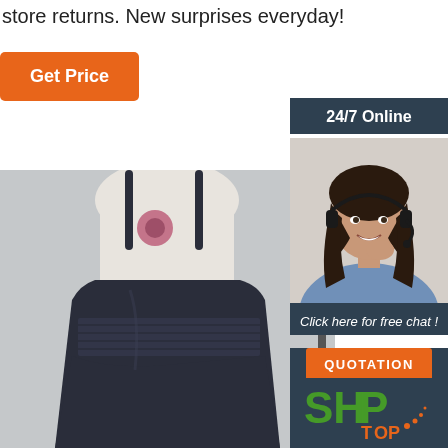store returns. New surprises everyday!
Get Price
[Figure (photo): A dark navy blue spaghetti strap dress on a mannequin, displayed against a light grey background. The dress features a smocked/gathered waistband.]
24/7 Online
[Figure (photo): A smiling woman with dark hair wearing a headset, dressed in a light blue shirt, appearing as a customer service representative.]
Click here for free chat !
QUOTATION
[Figure (logo): A logo with green letters and orange TOP text with dotted decoration, appearing to be a store or brand logo.]